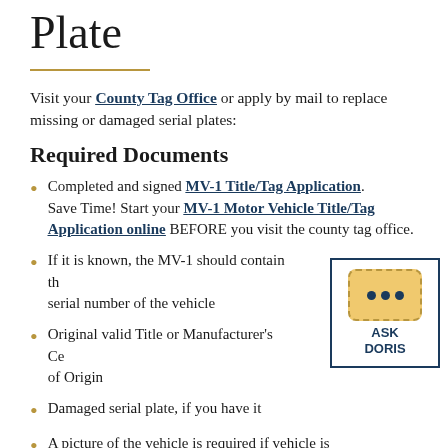Plate
Visit your County Tag Office or apply by mail to replace missing or damaged serial plates:
Required Documents
Completed and signed MV-1 Title/Tag Application. Save Time! Start your MV-1 Motor Vehicle Title/Tag Application online BEFORE you visit the county tag office.
If it is known, the MV-1 should contain the serial number of the vehicle
Original valid Title or Manufacturer's Certificate of Origin
Damaged serial plate, if you have it
A picture of the vehicle is required if vehicle is